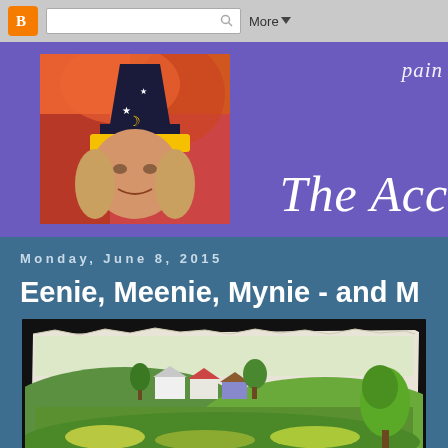Blogger navigation bar with search and More button
[Figure (screenshot): Blog header banner with purple background, profile photo of woman in yellow hat with moon and star decorations, colorful painting in background, and partial blog title text 'The Acci...' and 'pain...' in italic white serif font]
Monday, June 8, 2015
Eenie, Meenie, Mynie - and M
[Figure (photo): Landscape painting showing rural scene with small houses with colored roofs, green rolling hills, trees, painted in an impressionistic style on textured paper with black border]